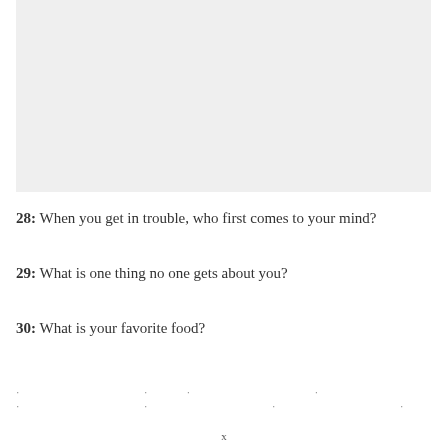[Figure (other): Gray rectangular image placeholder at top of page]
28: When you get in trouble, who first comes to your mind?
29: What is one thing no one gets about you?
30: What is your favorite food?
. . . . . . . .
x